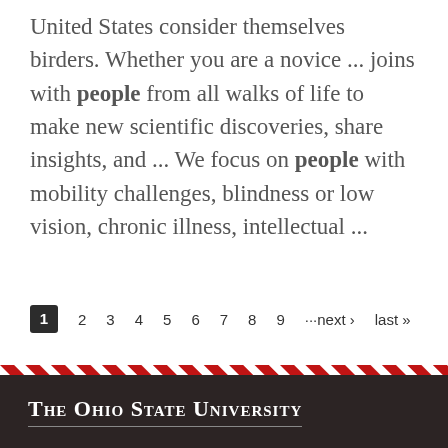United States consider themselves birders. Whether you are a novice ... joins with people from all walks of life to make new scientific discoveries, share insights, and ... We focus on people with mobility challenges, blindness or low vision, chronic illness, intellectual ...
1  2  3  4  5  6  7  8  9  ···next ›  last »
[Figure (illustration): Ohio State University diagonal red and white stripe decorative bar]
The Ohio State University